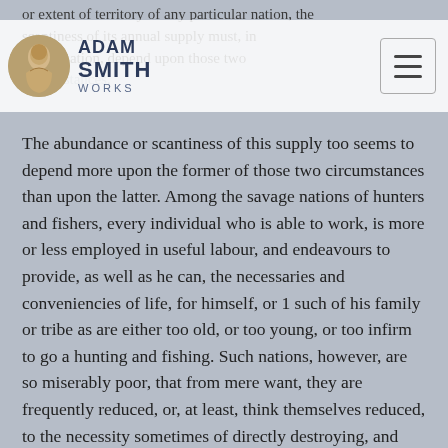Adam Smith Works
or extent of territory of any particular nation, the scantiness of its annual supply must, in that situation, depend upon those two circumstances.
The abundance or scantiness of this supply too seems to depend more upon the former of those two circumstances than upon the latter. Among the savage nations of hunters and fishers, every individual who is able to work, is more or less employed in useful labour, and endeavours to provide, as well as he can, the necessaries and conveniencies of life, for himself, or 1 such of his family or tribe as are either too old, or too young, or too infirm to go a hunting and fishing. Such nations, however, are so miserably poor, that from mere want, they are frequently reduced, or, at least, think themselves reduced, to the necessity sometimes of directly destroying, and sometimes of abandoning their infants, their old people, and those afflicted